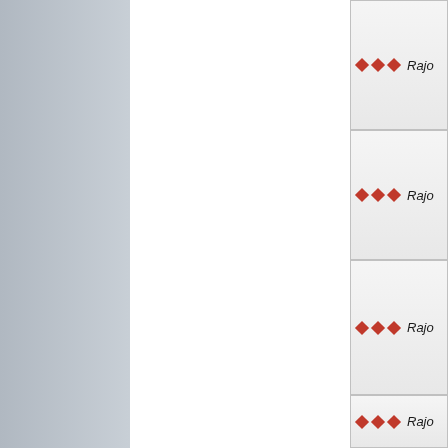[Figure (illustration): Left gray panel with blue border on the right edge, representing a sidebar or navigation panel]
[Figure (illustration): White middle panel, empty content area]
◇ ◇ ◇ Rajo
◇ ◇ ◇ Rajo
◇ ◇ ◇ Rajo
◇ ◇ ◇ Rajo